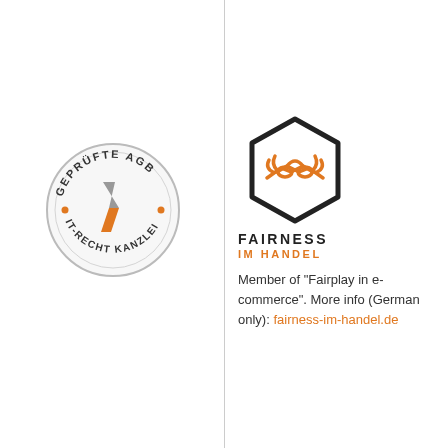[Figure (logo): IT-Recht Kanzlei 'Geprüfte AGB' circular badge with orange lightning bolt and dot accents]
[Figure (logo): Fairness im Handel hexagon logo with orange handshake icon]
FAIRNESS
IM HANDEL
Member of "Fairplay in e-commerce". More info (German only): fairness-im-handel.de